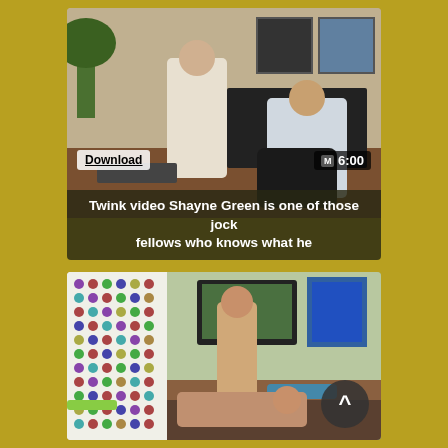[Figure (screenshot): Video thumbnail showing two men in an office setting, one in a white shirt. Overlaid with Download button, duration badge showing 6:00, and caption text.]
Twink video Shayne Green is one of those jock fellows who knows what he
[Figure (screenshot): Video thumbnail showing figures in a bedroom with colorful polka-dot wall on left. A scroll-to-top button (^) visible in lower right.]